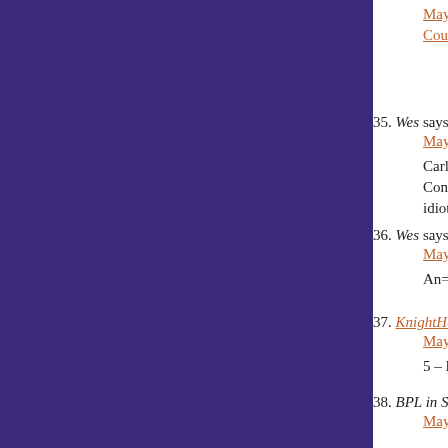[Figure (other): Dark purple sidebar on the left side of the page]
Court Decisions on Bagram Detainees (link, truncated at top)
35. Wes says:
May 24, 2010 at 4:58 pm

Carly’s been my girl from the beginning, MD... Congress. Interestingly the Dow gave back al... idiota tenemos en la Casa Blanca. Necesitma...
36. Wes says:
May 24, 2010 at 4:58 pm

An= a un
37. KnightHawk says:
May 24, 2010 at 4:58 pm

5 – He always has, makes sense given his pa...
38. BPL in Scottsdale says:
May 24, 2010 at 4:59 pm

For all you eeyores that want to believe the N...

Will Folks pleads guilty to criminal domestic...
http://www.wistv.com/global/story.asp?s=39...

Not a fan of Eric Erickson @ Red State, but... those guys are rich. The self-admitted adulte...